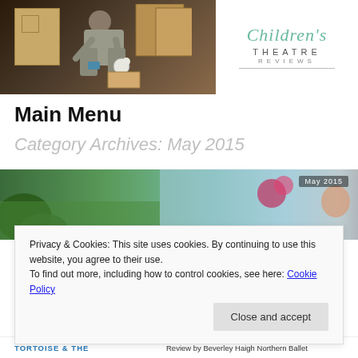[Figure (photo): Header image showing a person on stage handling a prop near cardboard boxes, with Children's Theatre Reviews logo overlay on the right]
Main Menu
Category Archives: May 2015
[Figure (photo): Banner image of a nature/garden stage scene with May 2015 badge in top right corner]
Privacy & Cookies: This site uses cookies. By continuing to use this website, you agree to their use.
To find out more, including how to control cookies, see here: Cookie Policy
Close and accept
TORTOISE & THE
Review by Beverley Haigh Northern Ballet